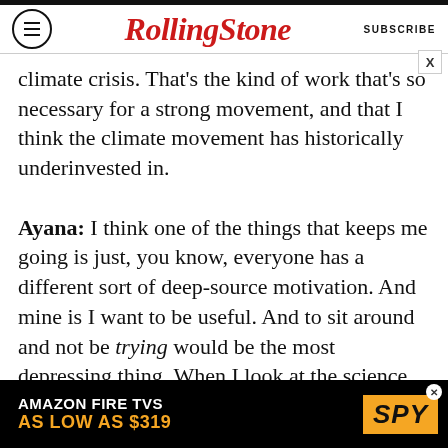Rolling Stone | SUBSCRIBE
climate crisis. That’s the kind of work that’s so necessary for a strong movement, and that I think the climate movement has historically underinvested in.
Ayana: I think one of the things that keeps me going is just, you know, everyone has a different sort of deep-source motivation. And mine is I want to be useful. And to sit around and not be trying would be the most depressing thing. When I look at the science, [and] sort of absorb the shock of what’s projected as far as sea level rise or temperatures or storms, it really does knock me back and often brings me to tears. And then I
[Figure (other): Amazon Fire TVs advertisement banner: 'AMAZON FIRE TVS AS LOW AS $319' with SPY logo]